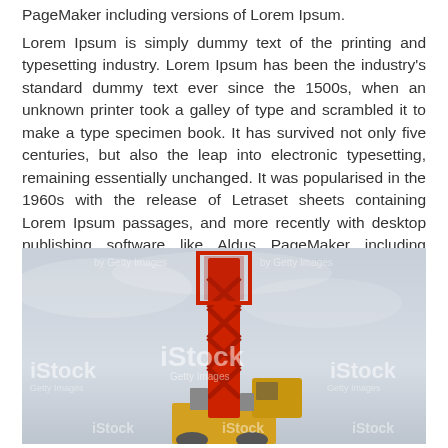PageMaker including versions of Lorem Ipsum.
Lorem Ipsum is simply dummy text of the printing and typesetting industry. Lorem Ipsum has been the industry's standard dummy text ever since the 1500s, when an unknown printer took a galley of type and scrambled it to make a type specimen book. It has survived not only five centuries, but also the leap into electronic typesetting, remaining essentially unchanged. It was popularised in the 1960s with the release of Letraset sheets containing Lorem Ipsum passages, and more recently with desktop publishing software like Aldus PageMaker including versions of Lorem Ipsum.
[Figure (photo): Low-angle photograph of a large red crane or construction equipment against an overcast grey sky. The crane's mast and cab structure are visible. Multiple iStock/Getty Images watermarks are overlaid on the image.]